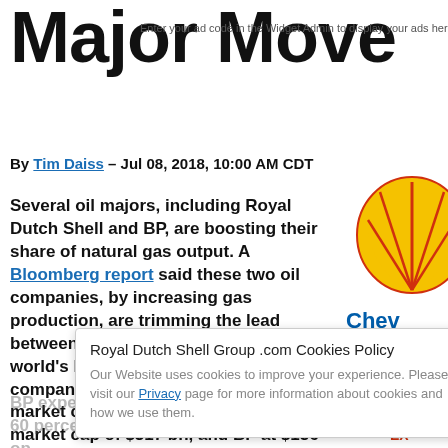Major Move
Enter your ad code in the Widget Admin to display your ads here
By Tim Daiss – Jul 08, 2018, 10:00 AM CDT
Several oil majors, including Royal Dutch Shell and BP, are boosting their share of natural gas output. A Bloomberg report said these two oil companies, by increasing gas production, are trimming the lead between them and ExxonMobil, the world's largest publicly traded oil company. ExxonMobil has a current market cap of $348 bn, while Shell has market cap of $317 bn, and BP at $156 bn.
BP expects by 2020 to produce about 60 percent gas and 40... the op... like... ab... 45 percent gas and remains the lar... natural gas producer in the US. Shell...
Royal Dutch Shell Group .com Cookies Policy
Our Website uses cookies to improve your experience. Please visit our Privacy page for more information about cookies and how we use them.
[Figure (logo): Shell, Chevron, BP, and ExxonMobil logos on right side]